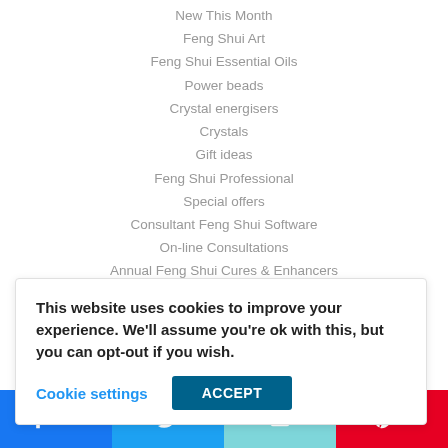New This Month
Feng Shui Art
Feng Shui Essential Oils
Power beads
Crystal energisers
Crystals
Gift ideas
Feng Shui Professional
Special offers
Consultant Feng Shui Software
On-line Consultations
Annual Feng Shui Cures & Enhancers
Annual #1 Star Cures
Annual #2 Star Cures
This website uses cookies to improve your experience. We'll assume you're ok with this, but you can opt-out if you wish. Cookie settings ACCEPT
Facebook 353 | Twitter | Email | Pinterest 1